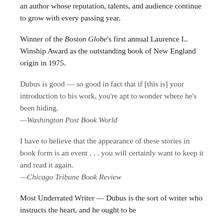an author whose reputation, talents, and audience continue to grow with every passing year.
Winner of the Boston Globe's first annual Laurence L. Winship Award as the outstanding book of New England origin in 1975.
Dubus is good — so good in fact that if [this is] your introduction to his work, you're apt to wonder where he's been hiding.
—Washington Post Book World
I have to believe that the appearance of these stories in book form is an event . . . you will certainly want to keep it and read it again.
—Chicago Tribune Book Review
Most Underrated Writer — Dubus is the sort of writer who instructs the heart, and he ought to be